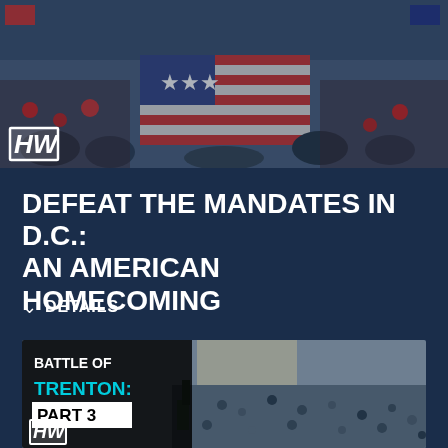[Figure (photo): Aerial or crowd-level photo of a large rally crowd holding a large American flag, people in red clothing visible, crowd stretching across the frame]
DEFEAT THE MANDATES IN D.C.: AN AMERICAN HOMECOMING
DETAILS
[Figure (photo): Aerial photo of a large protest crowd outside a government building in Trenton, with overlay text reading BATTLE OF TRENTON: PART 3]